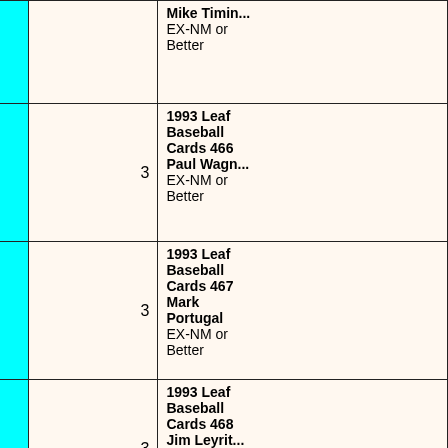| Image | Qty | Description |
| --- | --- | --- |
|  | 3 | Mike Timin... EX-NM or Better |
|  | 3 | 1993 Leaf Baseball Cards 466 Paul Wagn... EX-NM or Better |
|  | 3 | 1993 Leaf Baseball Cards 467 Mark Portugal EX-NM or Better |
|  | 3 | 1993 Leaf Baseball Cards 468 Jim Leyrit... EX-NM or Better |
|  | 3 | 1993 Leaf Baseball Cards 469 Ryan Kles... EX-NM or |